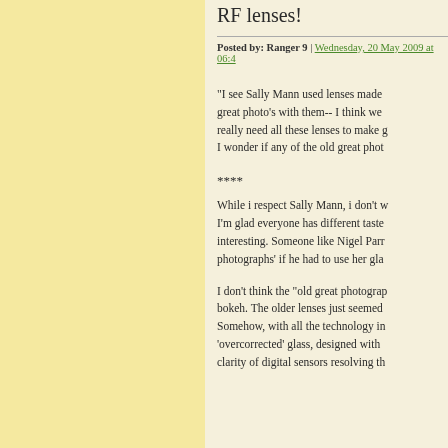RF lenses!
Posted by: Ranger 9 | Wednesday, 20 May 2009 at 06:4...
"I see Sally Mann used lenses made... great photo's with them-- I think we really need all these lenses to make g... I wonder if any of the old great phot...
****
While i respect Sally Mann, i don't w... I'm glad everyone has different taste interesting. Someone like Nigel Parr... photographs' if he had to use her gla...
I don't think the "old great photograp... bokeh. The older lenses just seemed... Somehow, with all the technology in... 'overcorrected' glass, designed with ... clarity of digital sensors resolving th...